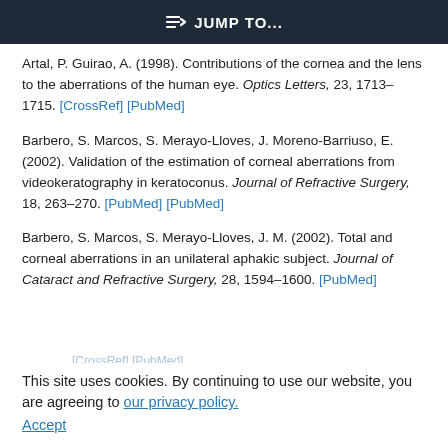JUMP TO...
Artal, P. Guirao, A. (1998). Contributions of the cornea and the lens to the aberrations of the human eye. Optics Letters, 23, 1713–1715. [CrossRef] [PubMed]
Barbero, S. Marcos, S. Merayo-Lloves, J. Moreno-Barriuso, E. (2002). Validation of the estimation of corneal aberrations from videokeratography in keratoconus. Journal of Refractive Surgery, 18, 263–270. [PubMed] [PubMed]
Barbero, S. Marcos, S. Merayo-Lloves, J. M. (2002). Total and corneal aberrations in an unilateral aphakic subject. Journal of Cataract and Refractive Surgery, 28, 1594–1600. [PubMed]
This site uses cookies. By continuing to use our website, you are agreeing to our privacy policy. Accept